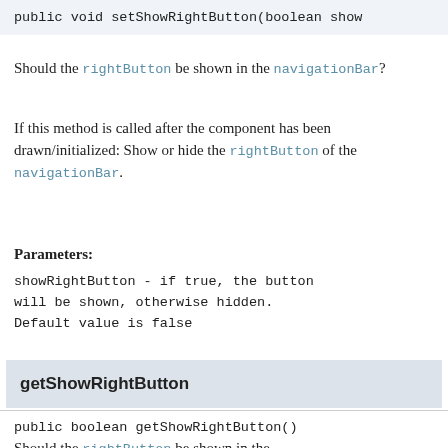public void setShowRightButton(boolean show
Should the rightButton be shown in the navigationBar?
If this method is called after the component has been drawn/initialized: Show or hide the rightButton of the navigationBar.
Parameters:
showRightButton - if true, the button will be shown, otherwise hidden. Default value is false
getShowRightButton
public boolean getShowRightButton()
Should the rightButton be shown in the